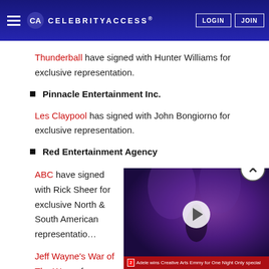CELEBRITYACCESS. LOGIN JOIN
Thunderball have signed with Hunter Williams for exclusive representation.
Pinnacle Entertainment Inc.
Les Claypool has signed with John Bongiorno for exclusive representation.
Red Entertainment Agency
ABC have signed with Rick Sheer for exclusive North & South American representation.
Jeff Wayne's War of The Wor... for exclusive North & South A...
[Figure (screenshot): Video player overlay showing a performer on stage with purple lighting, play button, close (X) button, and caption 'Adele wins Creative Arts Emmy for One Night Only special' with a red network logo.]